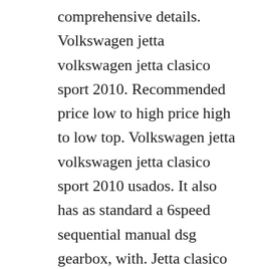comprehensive details. Volkswagen jetta volkswagen jetta clasico sport 2010. Recommended price low to high price high to low top. Volkswagen jetta volkswagen jetta clasico sport 2010 usados. It also has as standard a 6speed sequential manual dsg gearbox, with. Jetta clasico en df cdmx vivanuncios autos nuevos y. The vehicle has the premium sound system 8, and has never been altered. Volkswagen jetta radio or cd player parts are instock and available. Find your owners manual for vw jetta 2010 in this site. Designed to offer a sporty, upscale feel as